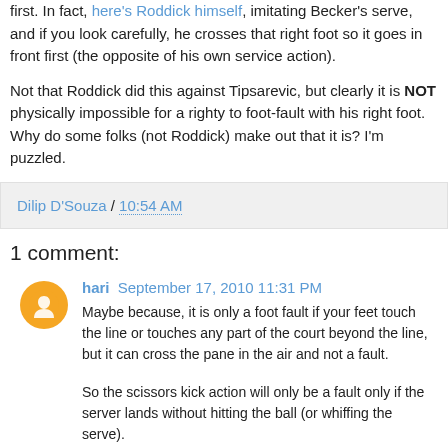first. In fact, here's Roddick himself, imitating Becker's serve, and if you look carefully, he crosses that right foot so it goes in front first (the opposite of his own service action).
Not that Roddick did this against Tipsarevic, but clearly it is NOT physically impossible for a righty to foot-fault with his right foot. Why do some folks (not Roddick) make out that it is? I'm puzzled.
Dilip D'Souza / 10:54 AM
1 comment:
hari September 17, 2010 11:31 PM
Maybe because, it is only a foot fault if your feet touch the line or touches any part of the court beyond the line, but it can cross the pane in the air and not a fault.
So the scissors kick action will only be a fault only if the server lands without hitting the ball (or whiffing the serve).